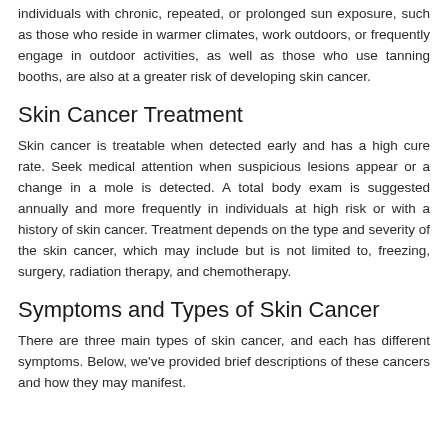individuals with chronic, repeated, or prolonged sun exposure, such as those who reside in warmer climates, work outdoors, or frequently engage in outdoor activities, as well as those who use tanning booths, are also at a greater risk of developing skin cancer.
Skin Cancer Treatment
Skin cancer is treatable when detected early and has a high cure rate. Seek medical attention when suspicious lesions appear or a change in a mole is detected. A total body exam is suggested annually and more frequently in individuals at high risk or with a history of skin cancer. Treatment depends on the type and severity of the skin cancer, which may include but is not limited to, freezing, surgery, radiation therapy, and chemotherapy.
Symptoms and Types of Skin Cancer
There are three main types of skin cancer, and each has different symptoms. Below, we've provided brief descriptions of these cancers and how they may manifest.